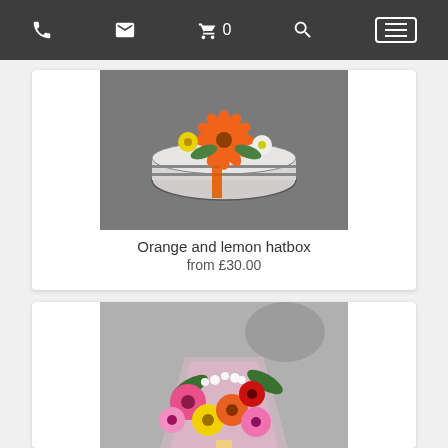Navigation bar with phone, email, cart (0), search, and menu icons
[Figure (photo): A floral hat box arrangement with orange gerberas, yellow flowers, and white daisies in a striped round box with orange ribbon, photographed from above on a pavement.]
Orange and lemon hatbox
from £30.00
[Figure (photo): A colourful mixed flower bouquet wrapped in pink cellophane, featuring pink, yellow, orange and red gerberas, red roses, and white baby's breath.]